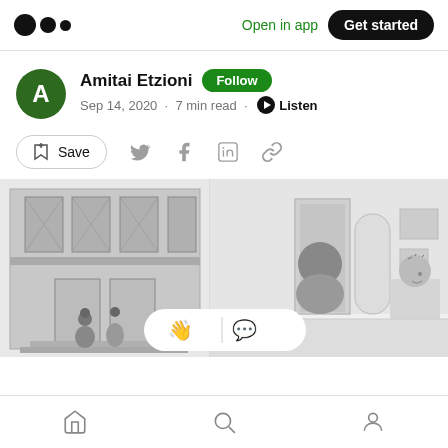Medium logo | Open in app | Get started
Amitai Etzioni · Follow · Sep 14, 2020 · 7 min read · Listen
Save (social share icons: Twitter, Facebook, LinkedIn, Link)
[Figure (illustration): Grayscale cartoon illustration of an interior scene with two panels: left panel shows a building facade with tall windows and steps, right panel shows two people in conversation near a doorway with art on walls.]
Home | Search | Profile (bottom navigation bar)